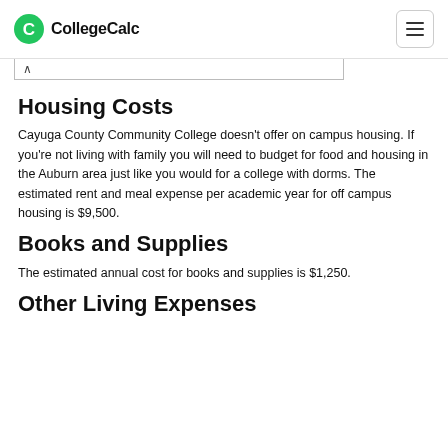CollegeCalc
Housing Costs
Cayuga County Community College doesn't offer on campus housing. If you're not living with family you will need to budget for food and housing in the Auburn area just like you would for a college with dorms. The estimated rent and meal expense per academic year for off campus housing is $9,500.
Books and Supplies
The estimated annual cost for books and supplies is $1,250.
Other Living Expenses